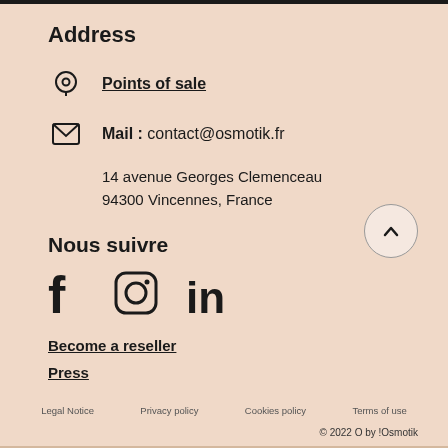Address
Points of sale
Mail : contact@osmotik.fr
14 avenue Georges Clemenceau
94300 Vincennes, France
Nous suivre
[Figure (illustration): Social media icons: Facebook (f), Instagram (circle with camera), LinkedIn (in)]
Become a reseller
Press
Legal Notice   Privacy policy   Cookies policy   Terms of use
© 2022 O by !Osmotik